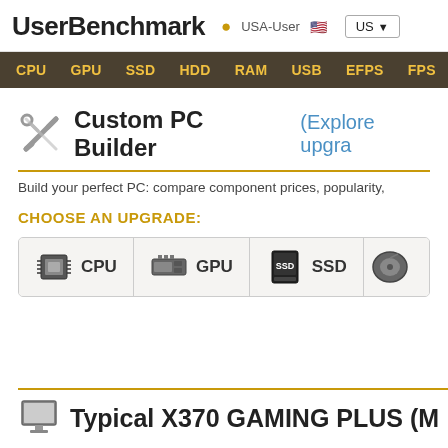UserBenchmark  USA-User  US
CPU  GPU  SSD  HDD  RAM  USB  EFPS  FPS  Sk
Custom PC Builder (Explore upgra
Build your perfect PC: compare component prices, popularity,
CHOOSE AN UPGRADE:
CPU  GPU  SSD
Typical X370 GAMING PLUS (M